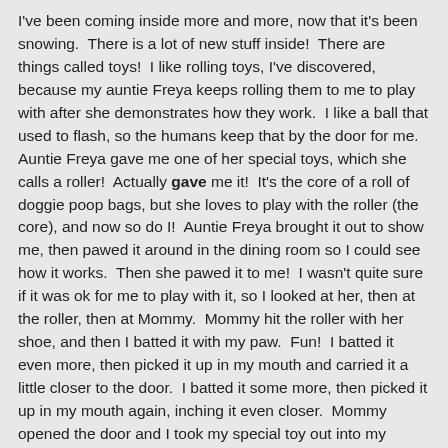I've been coming inside more and more, now that it's been snowing.  There is a lot of new stuff inside!  There are things called toys!  I like rolling toys, I've discovered, because my auntie Freya keeps rolling them to me to play with after she demonstrates how they work.  I like a ball that used to flash, so the humans keep that by the door for me.  Auntie Freya gave me one of her special toys, which she calls a roller!  Actually gave me it!  It's the core of a roll of doggie poop bags, but she loves to play with the roller (the core), and now so do I!  Auntie Freya brought it out to show me, then pawed it around in the dining room so I could see how it works.  Then she pawed it to me!  I wasn't quite sure if it was ok for me to play with it, so I looked at her, then at the roller, then at Mommy.  Mommy hit the roller with her shoe, and then I batted it with my paw.  Fun!  I batted it even more, then picked it up in my mouth and carried it a little closer to the door.  I batted it some more, then picked it up in my mouth again, inching it even closer.  Mommy opened the door and I took my special toy out into my world!  My first favorite toy, besides natural things!  I've played with grasses, rope, and other outside things, but this is my special, inside